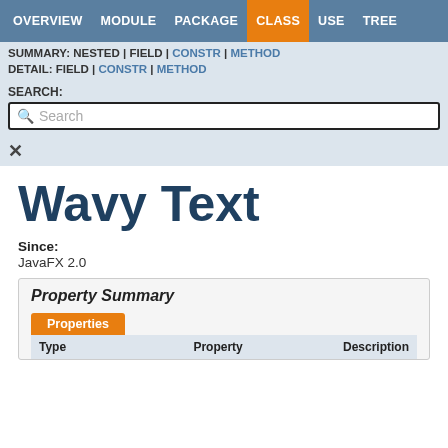OVERVIEW | MODULE | PACKAGE | CLASS | USE | TREE
SUMMARY: NESTED | FIELD | CONSTR | METHOD
DETAIL: FIELD | CONSTR | METHOD
SEARCH:
Wavy Text
Since:
JavaFX 2.0
Property Summary
| Type | Property | Description |
| --- | --- | --- |